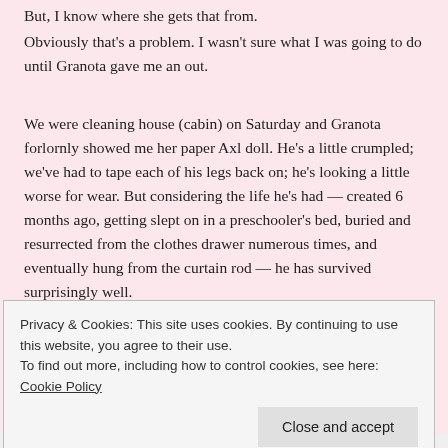But, I know where she gets that from.
Obviously that's a problem. I wasn't sure what I was going to do until Granota gave me an out.
We were cleaning house (cabin) on Saturday and Granota forlornly showed me her paper Axl doll. He's a little crumpled; we've had to tape each of his legs back on; he's looking a little worse for wear. But considering the life he's had — created 6 months ago, getting slept on in a preschooler's bed, buried and resurrected from the clothes drawer numerous times, and eventually hung from the curtain rod — he has survived surprisingly well.
[Figure (photo): Dark photo showing what appears to be wooden items or a paper doll in low light conditions]
Privacy & Cookies: This site uses cookies. By continuing to use this website, you agree to their use.
To find out more, including how to control cookies, see here: Cookie Policy
Close and accept